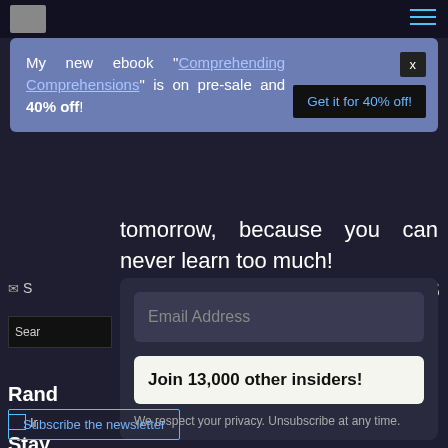My new ebook “Comprehending Comprehensions” is on pre-sale and 40% off!
tomorrow, because you can never learn too much!
Email Address
Join 13,000 other insiders!
We respect your privacy. Unsubscribe at any time.
Subscribe the newsletter